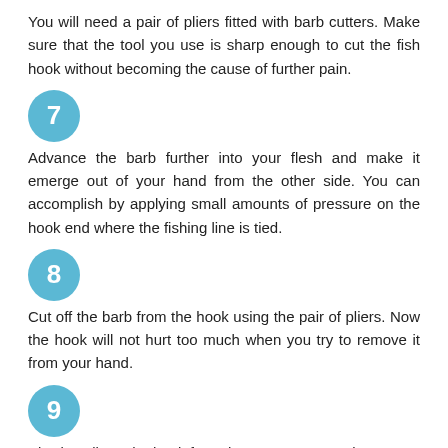You will need a pair of pliers fitted with barb cutters. Make sure that the tool you use is sharp enough to cut the fish hook without becoming the cause of further pain.
7
Advance the barb further into your flesh and make it emerge out of your hand from the other side. You can accomplish by applying small amounts of pressure on the hook end where the fishing line is tied.
8
Cut off the barb from the hook using the pair of pliers. Now the hook will not hurt too much when you try to remove it from your hand.
9
Slowly pull out the hook from the entrance wound.